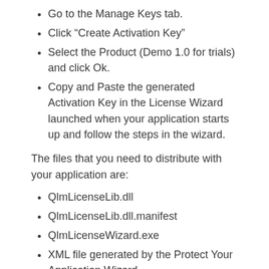Go to the Manage Keys tab.
Click “Create Activation Key”
Select the Product (Demo 1.0 for trials) and click Ok.
Copy and Paste the generated Activation Key in the License Wizard launched when your application starts up and follow the steps in the wizard.
The files that you need to distribute with your application are:
QlmLicenseLib.dll
QlmLicenseLib.dll.manifest
QlmLicenseWizard.exe
XML file generated by the Protect Your Application Wizard
Troubleshooting Tips
If you run into compilation issues after adding the LicenseValidator class to your project, you can try the